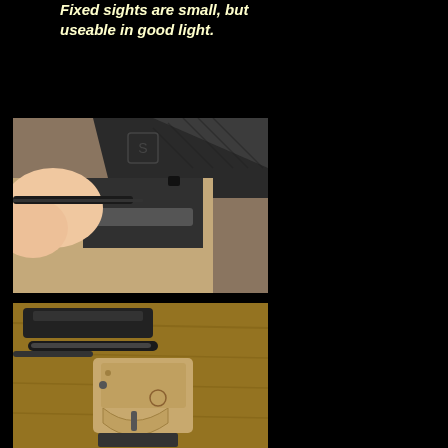Fixed sights are small, but useable in good light.
[Figure (photo): Close-up photo of a person's finger pointing at the small fixed sight on a pistol slide, showing the sight detail on the firearm.]
[Figure (photo): Photo of a disassembled pistol with a tan/FDE frame laid on a wooden surface, with the slide and other components separated.]